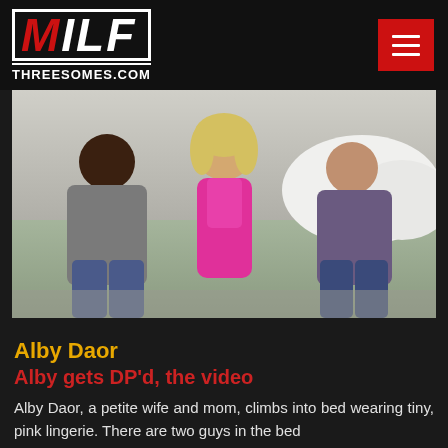MILF THREESOMES.COM
[Figure (photo): Three people posing together: a woman in pink lingerie in the center, flanked by two men on a couch/bed setting]
Alby Daor
Alby gets DP'd, the video
Alby Daor, a petite wife and mom, climbs into bed wearing tiny, pink lingerie. There are two guys in the bed